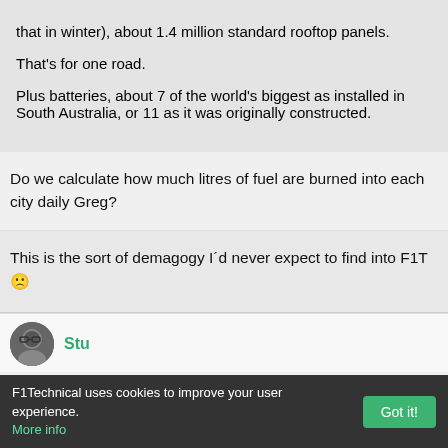that in winter), about 1.4 million standard rooftop panels.

That's for one road.

Plus batteries, about 7 of the world's biggest as installed in South Australia, or 11 as it was originally constructed.
Do we calculate how much litres of fuel are burned into each city daily Greg?
This is the sort of demagogy I´d never expect to find into F1T 🙁
Stu
F1Technical uses cookies to improve your user experience. More info  Got it!